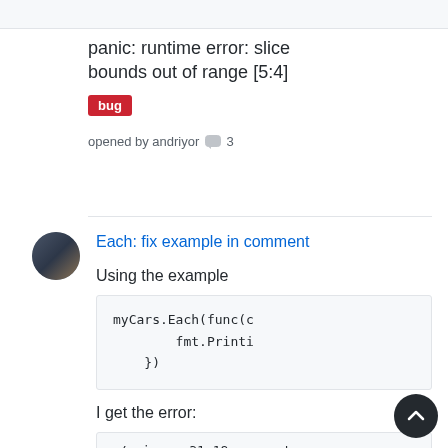[Figure (screenshot): Top gray bar of a GitHub issues/PR page]
panic: runtime error: slice bounds out of range [5:4]
bug
opened by andriyor 💬 3
Each: fix example in comment
Using the example
myCars.Each(func(c
        fmt.Printf
})
I get the error:
./main.go:31:18: cannot us